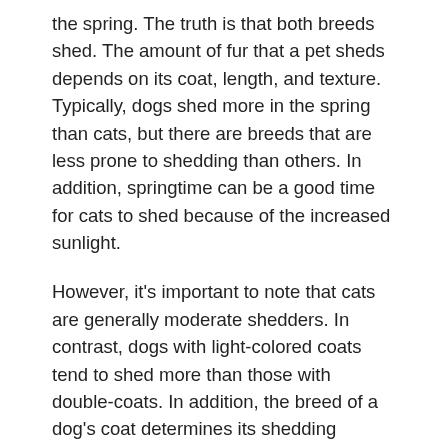the spring. The truth is that both breeds shed. The amount of fur that a pet sheds depends on its coat, length, and texture. Typically, dogs shed more in the spring than cats, but there are breeds that are less prone to shedding than others. In addition, springtime can be a good time for cats to shed because of the increased sunlight.
However, it's important to note that cats are generally moderate shedders. In contrast, dogs with light-colored coats tend to shed more than those with double-coats. In addition, the breed of a dog's coat determines its shedding potential. If you're worried about your pet's shedding, schedule a visit to your veterinarian to discuss whether he or she is experiencing excessive shedding.